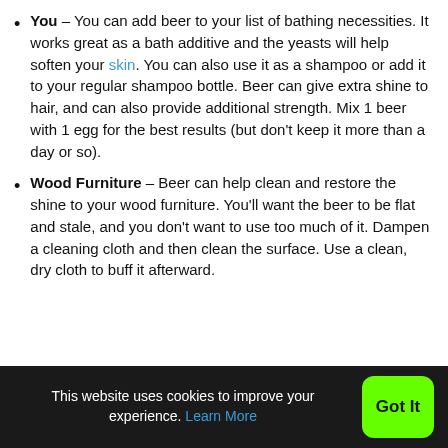You – You can add beer to your list of bathing necessities. It works great as a bath additive and the yeasts will help soften your skin. You can also use it as a shampoo or add it to your regular shampoo bottle. Beer can give extra shine to hair, and can also provide additional strength. Mix 1 beer with 1 egg for the best results (but don't keep it more than a day or so).
Wood Furniture – Beer can help clean and restore the shine to your wood furniture. You'll want the beer to be flat and stale, and you don't want to use too much of it. Dampen a cleaning cloth and then clean the surface. Use a clean, dry cloth to buff it afterward.
This website uses cookies to improve your experience. Learn More  Got It